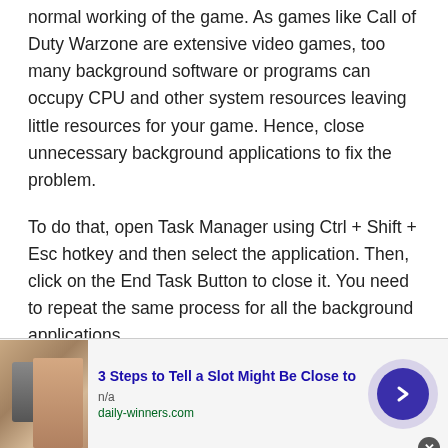normal working of the game. As games like Call of Duty Warzone are extensive video games, too many background software or programs can occupy CPU and other system resources leaving little resources for your game. Hence, close unnecessary background applications to fix the problem.
To do that, open Task Manager using Ctrl + Shift + Esc hotkey and then select the application. Then, click on the End Task Button to close it. You need to repeat the same process for all the background applications.
[Figure (other): Advertisement banner: image of slot machine and person, title '3 Steps to Tell a Slot Might Be Close to', source 'daily-winners.com', with arrow button and close button]